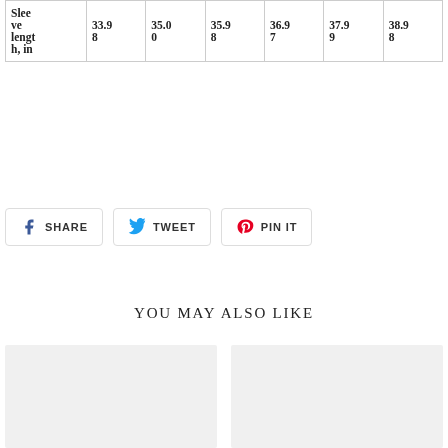| Sleeve length, in | 33.98 | 35.00 | 35.98 | 36.97 | 37.99 | 38.98 |
SHARE  TWEET  PIN IT
YOU MAY ALSO LIKE
[Figure (photo): Product image placeholder (light gray rectangle)]
[Figure (photo): Product image placeholder (light gray rectangle)]